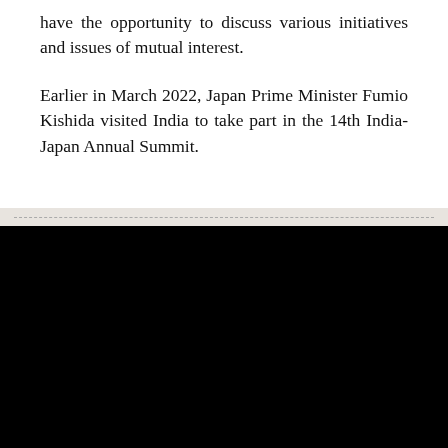have the opportunity to discuss various initiatives and issues of mutual interest.
Earlier in March 2022, Japan Prime Minister Fumio Kishida visited India to take part in the 14th India-Japan Annual Summit.
[Figure (other): Black advertisement panel with a loading spinner (white circle outline) in the center and 'Ads by' label in top right corner with a blue triangle icon]